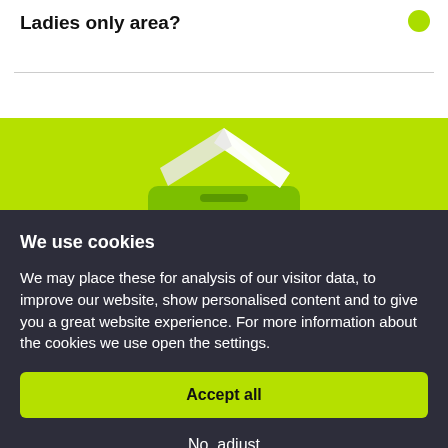Ladies only area?
[Figure (illustration): Green background with a white ballot box / voting box illustration showing papers being inserted]
We use cookies
We may place these for analysis of our visitor data, to improve our website, show personalised content and to give you a great website experience. For more information about the cookies we use open the settings.
Accept all
No, adjust